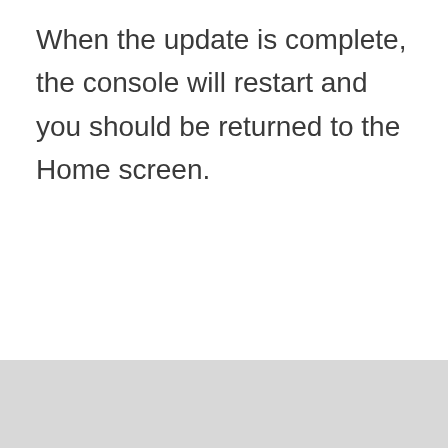When the update is complete, the console will restart and you should be returned to the Home screen.
[Figure (other): Light grey footer bar at the bottom of the page]